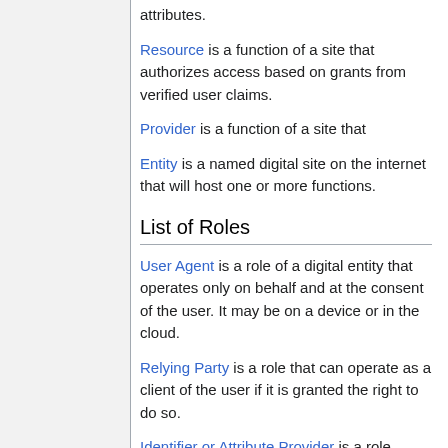attributes.
Resource is a function of a site that authorizes access based on grants from verified user claims.
Provider is a function of a site that
Entity is a named digital site on the internet that will host one or more functions.
List of Roles
User Agent is a role of a digital entity that operates only on behalf and at the consent of the user. It may be on a device or in the cloud.
Relying Party is a role that can operate as a client of the user if it is granted the right to do so.
Identifier or Attribute Provider is a role